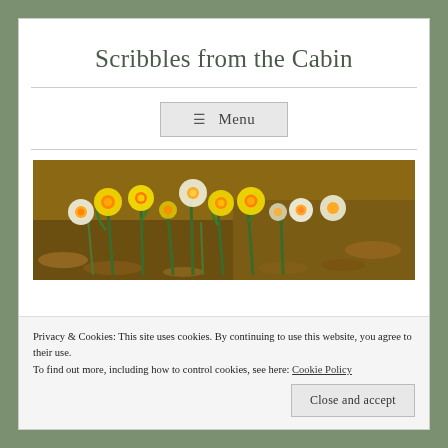Scribbles from the Cabin
☰ Menu
[Figure (photo): Photograph of yellow and white daffodil flowers blooming in a garden bed with brown soil and dried leaves]
Privacy & Cookies: This site uses cookies. By continuing to use this website, you agree to their use.
To find out more, including how to control cookies, see here: Cookie Policy
Close and accept